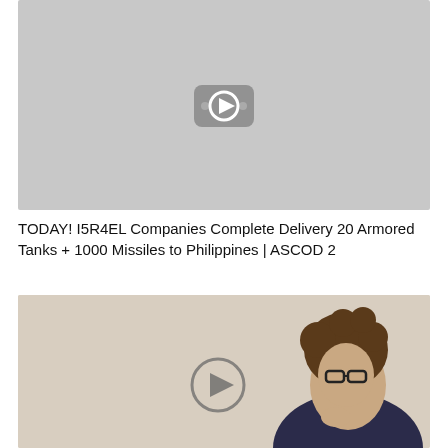[Figure (screenshot): YouTube-style video thumbnail showing a gray placeholder with a white play button icon in the center]
TODAY! I5R4EL Companies Complete Delivery 20 Armored Tanks + 1000 Missiles to Philippines | ASCOD 2
[Figure (screenshot): Video thumbnail with beige background showing a woman with curly hair and glasses making a skeptical expression, with large bold text reading 'Selfish Wasteful Entitled' and a play button overlay]